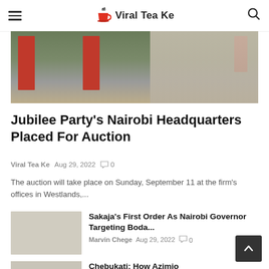Viral Tea Ke
[Figure (photo): A building exterior with red banners/signage visible, likely a commercial building in Nairobi]
Jubilee Party's Nairobi Headquarters Placed For Auction
Viral Tea Ke   Aug 29, 2022   0
The auction will take place on Sunday, September 11 at the firm's offices in Westlands,...
[Figure (photo): Thumbnail image for Sakaja's First Order As Nairobi Governor Targeting Boda article]
Sakaja's First Order As Nairobi Governor Targeting Boda...
Marvin Chege   Aug 29, 2022   0
[Figure (photo): Thumbnail image for Chebukati article]
Chebukati: How Azimio Bribed Me to Cha... Results To Favour...